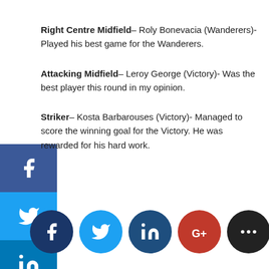Right Centre Midfield– Roly Bonevacia (Wanderers)- Played his best game for the Wanderers.
Attacking Midfield– Leroy George (Victory)- Was the best player this round in my opinion.
Striker– Kosta Barbarouses (Victory)- Managed to score the winning goal for the Victory. He was rewarded for his hard work.
[Figure (infographic): Social media share sidebar with Facebook, Twitter, LinkedIn, Google+, and more buttons stacked vertically on left side]
[Figure (infographic): Social media share circular buttons at bottom: Facebook, Twitter, LinkedIn, Google+, and more]